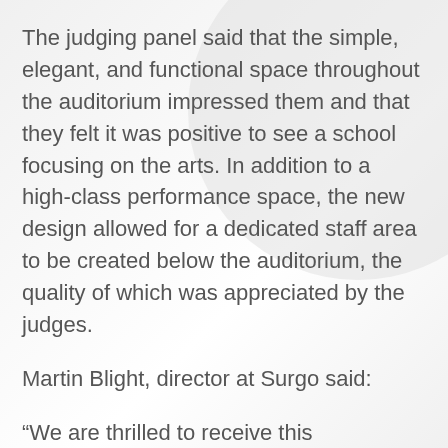The judging panel said that the simple, elegant, and functional space throughout the auditorium impressed them and that they felt it was positive to see a school focusing on the arts. In addition to a high-class performance space, the new design allowed for a dedicated staff area to be created below the auditorium, the quality of which was appreciated by the judges.
Martin Blight, director at Surgo said:
“We are thrilled to receive this prestigious award and I’m proud of the hard work and dedication from the team at Surgo that has gone into making this auditorium a success.